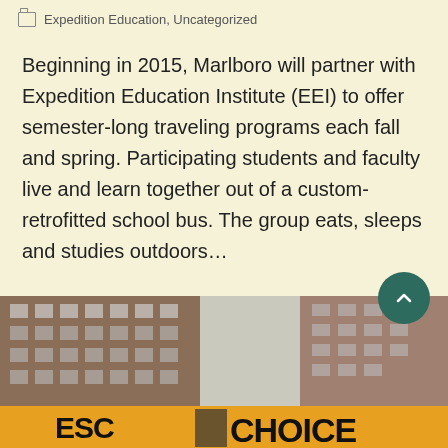Expedition Education, Uncategorized
Beginning in 2015, Marlboro will partner with Expedition Education Institute (EEI) to offer semester-long traveling programs each fall and spring. Participating students and faculty live and learn together out of a custom-retrofitted school bus. The group eats, sleeps and studies outdoors…
Read More
[Figure (photo): Street-level photo of tall brick apartment buildings in a city, with protest banners visible at the bottom reading partial text 'ESO' and 'CHOICE' on yellow/orange background]